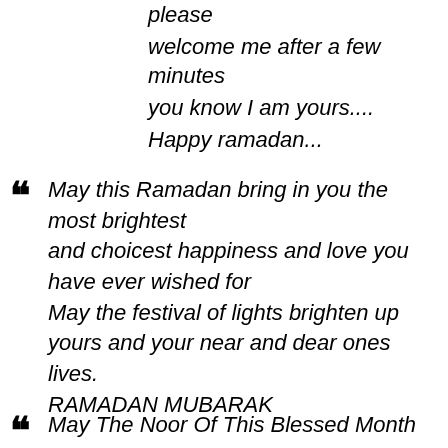please
welcome me after a few minutes
you know I am yours....
Happy ramadan...
May this Ramadan bring in you the most brightest
and choicest happiness and love you have ever wished for
May the festival of lights brighten up yours and your near and dear ones lives.
RAMADAN MUBARAK
May The Noor Of This Blessed Month